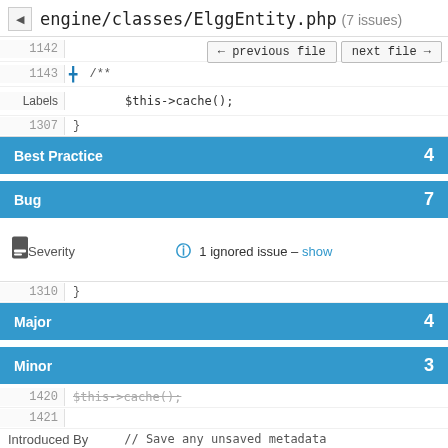engine/classes/ElggEntity.php (7 issues)
[Figure (screenshot): Code diff view showing PHP file with line numbers 1142, 1143+, and code lines including /** and $this->cache(); with navigation buttons ← previous file and next file →]
Labels
Best Practice   4
Bug   7
1 ignored issue – show
Severity
Major   4
Minor   3
Introduced By
Ismayil Khayredinov   4
Evan Winslow   3